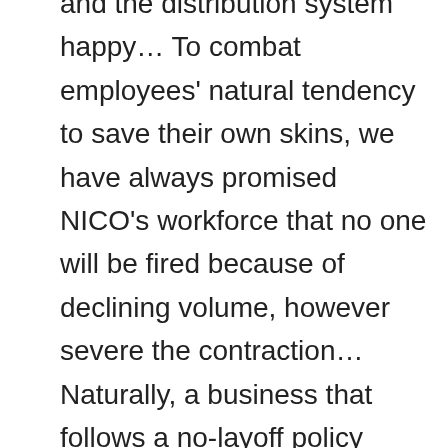and the distribution system happy… To combat employees' natural tendency to save their own skins, we have always promised NICO's workforce that no one will be fired because of declining volume, however severe the contraction… Naturally, a business that follows a no-layoff policy must be especially careful to avoid overstaffing when times are good. – page 8
Like Hell, derivative trading is easy to enter but difficult to leave. – page 11